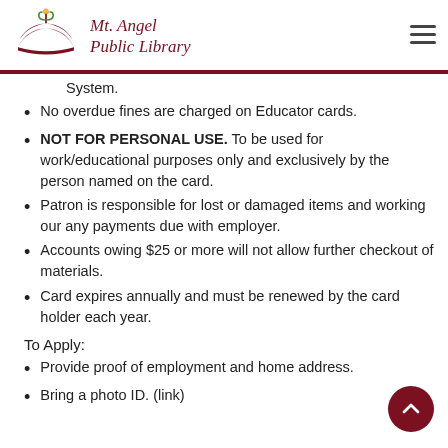Mt. Angel Public Library
System.
No overdue fines are charged on Educator cards.
NOT FOR PERSONAL USE. To be used for work/educational purposes only and exclusively by the person named on the card.
Patron is responsible for lost or damaged items and working our any payments due with employer.
Accounts owing $25 or more will not allow further checkout of materials.
Card expires annually and must be renewed by the card holder each year.
To Apply:
Provide proof of employment and home address.
Bring a photo ID. (link)